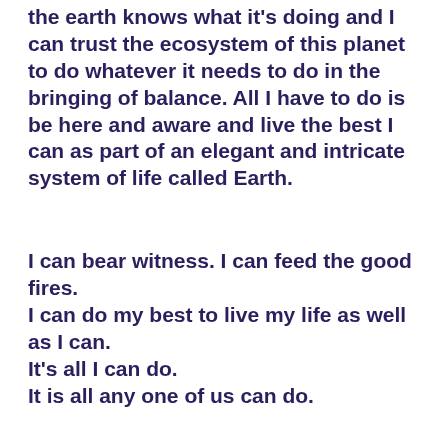the earth knows what it's doing and I can trust the ecosystem of this planet to do whatever it needs to do in the bringing of balance. All I have to do is be here and aware and live the best I can as part of an elegant and intricate system of life called Earth.
I can bear witness. I can feed the good fires.
I can do my best to live my life as well as I can.
It's all I can do.
It is all any one of us can do.
“The kind of work I like is the evidence of life lived, rather than some kind of abstracted conclusion of how things might be. I see a song as the ashes of existence, and if there is a light there, and you can warm yourself by it. It isn’t an intellectual construction — it’s more like a footprint that you can stick your own foot in. Or a spike on which you